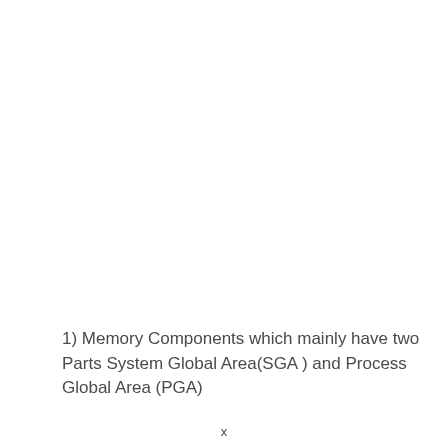1) Memory Components which mainly have two Parts System Global Area(SGA )  and Process Global Area (PGA)
x